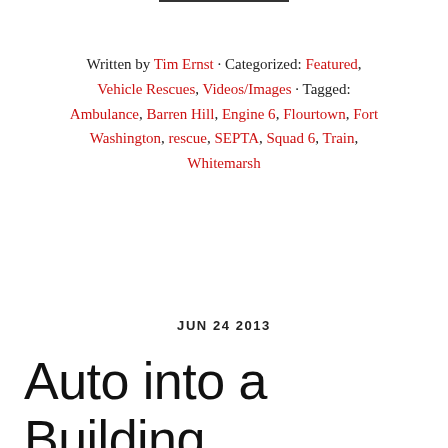Written by Tim Ernst · Categorized: Featured, Vehicle Rescues, Videos/Images · Tagged: Ambulance, Barren Hill, Engine 6, Flourtown, Fort Washington, rescue, SEPTA, Squad 6, Train, Whitemarsh
JUN 24 2013
Auto into a Building, 712 Bethlehem Pike